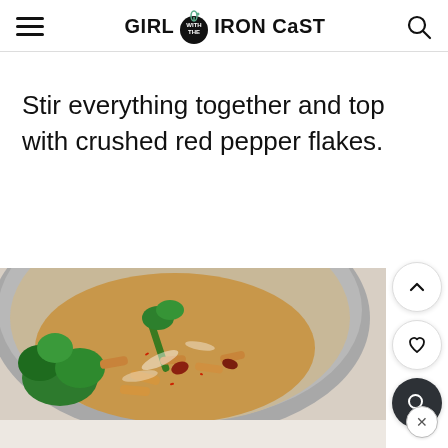GIRL WITH THE IRON CAST
Stir everything together and top with crushed red pepper flakes.
[Figure (photo): A gray bowl filled with penne pasta, broccoli rabe, and red pepper flakes, topped with grated cheese, on a marble surface.]